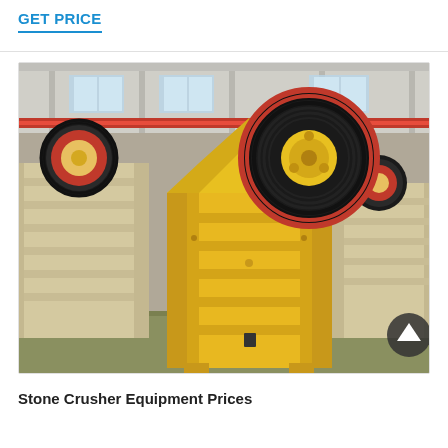GET PRICE
[Figure (photo): Industrial stone crusher jaw crushing equipment in yellow and beige colors displayed in a manufacturing facility. Multiple jaw crusher machines visible in background. Large black flywheel visible on the primary machine.]
Stone Crusher Equipment Prices